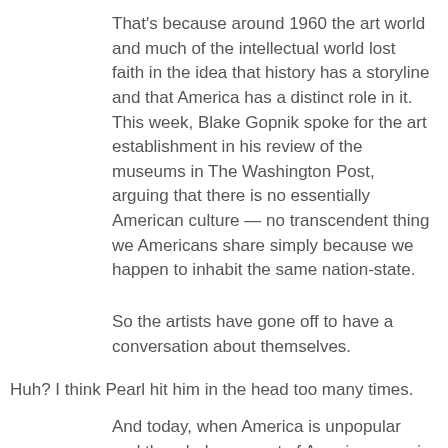That's because around 1960 the art world and much of the intellectual world lost faith in the idea that history has a storyline and that America has a distinct role in it. This week, Blake Gopnik spoke for the art establishment in his review of the museums in The Washington Post, arguing that there is no essentially American culture — no transcendent thing we Americans share simply because we happen to inhabit the same nation-state.
So the artists have gone off to have a conversation about themselves.
Huh? I think Pearl hit him in the head too many times.
And today, when America is unpopular and the whole concept of Americanness is encrusted with clichés and conspiracy theories, they'll feel thrilled to get back and touch the real America, the real conversation, which has been so